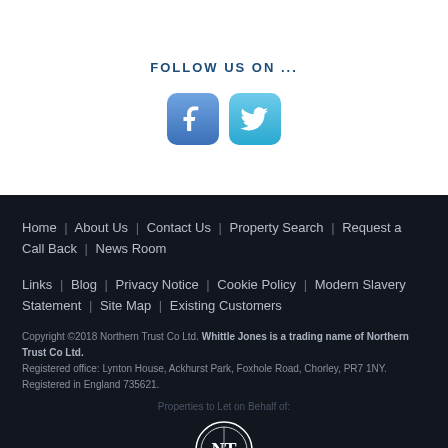FOLLOW US ON ...
[Figure (illustration): Facebook and Twitter social media icon buttons — rounded square blue Facebook icon with white 'f' and rounded square teal Twitter icon with white bird logo]
Home | About Us | Contact Us | Property Search | Request a Call Back | News Room
Links | Blog | Privacy Notice | Cookie Policy | Modern Slavery Statement | Site Map | Existing Customers
Copyright ©2018 Northern Trust Co Ltd. Whittle Jones is a trading name of Northern Trust Co Ltd. Registered office: Lynton House, Ackhurst Park, Foxhole Road, Chorley, PR7 1NY. Registered in England 735621.
Properties to Let on Behalf of:
[Figure (logo): Northern Trust logo — circular emblem with NT monogram and ornate border, above text NORTHERN TRUST in serif white capitals]